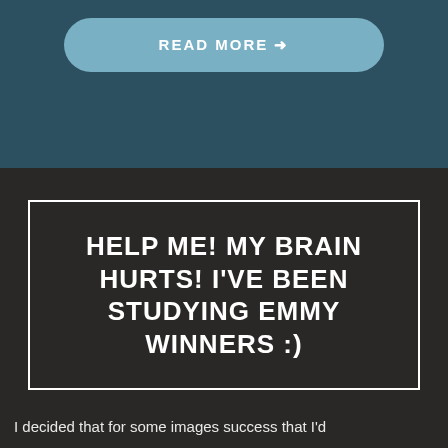READ MORE →
HELP ME! MY BRAIN HURTS! I'VE BEEN STUDYING EMMY WINNERS :)
I decided that for some images success that I'd